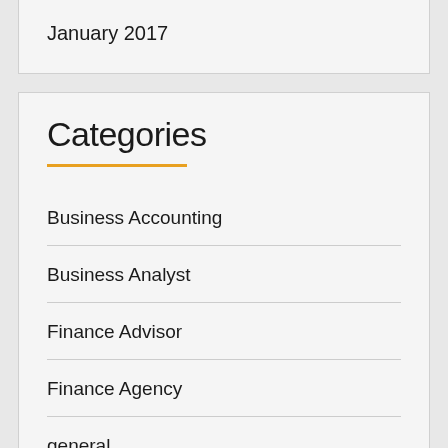January 2017
Categories
Business Accounting
Business Analyst
Finance Advisor
Finance Agency
general